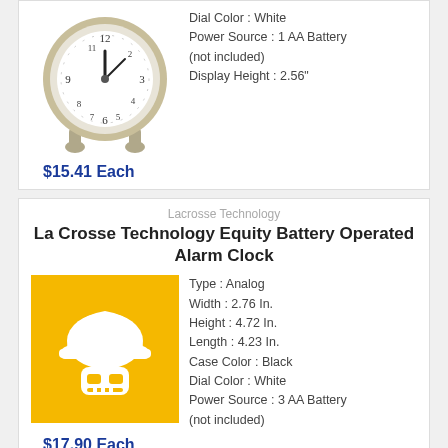[Figure (photo): Analog alarm clock with round face, silver/pewter case, showing numbers on dial]
Dial Color : White
Power Source : 1 AA Battery (not included)
Display Height : 2.56"
$15.41 Each
Lacrosse Technology
La Crosse Technology Equity Battery Operated Alarm Clock
[Figure (illustration): Yellow/orange square placeholder image with white hard hat and robot face icon]
Type : Analog
Width : 2.76 In.
Height : 4.72 In.
Length : 4.23 In.
Case Color : Black
Dial Color : White
Power Source : 3 AA Battery (not included)
$17.90 Each